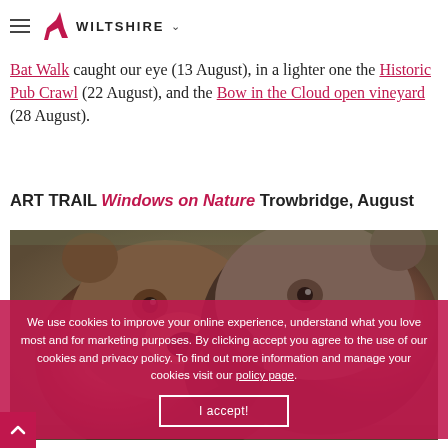Wiltshire
Bat Walk caught our eye (13 August), in a lighter one the Historic Pub Crawl (22 August), and the Bow in the Cloud open vineyard (28 August).
ART TRAIL Windows on Nature Trowbridge, August
[Figure (photo): Close-up photograph of two brown bears facing each other]
We use cookies to improve your online experience, understand what you love most and for marketing purposes. By clicking accept you agree to the use of our cookies and privacy policy. To find out more information and manage your cookies visit our policy page.
I accept!